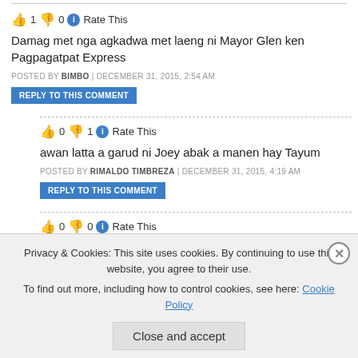👍 1 👎 0 ℹ Rate This
Damag met nga agkadwa met laeng ni Mayor Glen ken Pagpagatpat Express
POSTED BY BIMBO | DECEMBER 31, 2015, 2:54 AM
REPLY TO THIS COMMENT
👍 0 👎 1 ℹ Rate This
awan latta a garud ni Joey abak a manen hay Tayum
POSTED BY RIMALDO TIMBREZA | DECEMBER 31, 2015, 4:19 AM
REPLY TO THIS COMMENT
👍 0 👎 0 ℹ Rate This
Privacy & Cookies: This site uses cookies. By continuing to use this website, you agree to their use. To find out more, including how to control cookies, see here: Cookie Policy
Close and accept